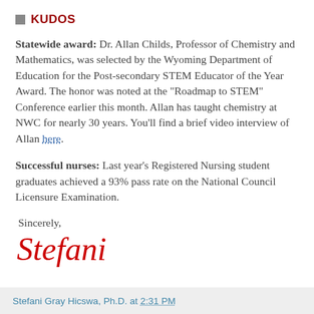KUDOS
Statewide award: Dr. Allan Childs, Professor of Chemistry and Mathematics, was selected by the Wyoming Department of Education for the Post-secondary STEM Educator of the Year Award. The honor was noted at the "Roadmap to STEM" Conference earlier this month. Allan has taught chemistry at NWC for nearly 30 years. You'll find a brief video interview of Allan here.
Successful nurses: Last year's Registered Nursing student graduates achieved a 93% pass rate on the National Council Licensure Examination.
Sincerely,
Stefani
Stefani Gray Hicswa, Ph.D. at 2:31 PM